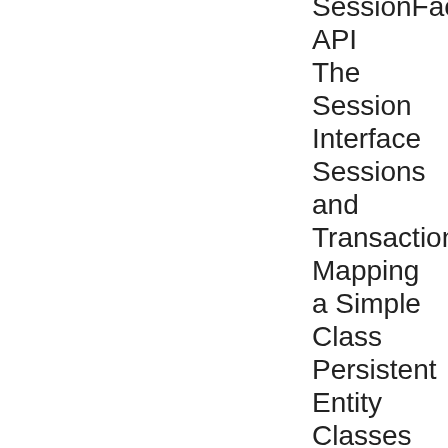SessionFactory API
The Session Interface
Sessions and Transactions
Mapping a Simple Class
Persistent Entity Classes
Persistent Classes
The Event Class
The id Property
The Hibernate Mapping File
The Element
The Element
The EVENTS Table
Mapping the id Property with
More About Primary Keys
Generating the id Value
Mapping Properties with
Hibernate Mapping Types
Common Hibernate Type Mappings
Field Access or Property Access
The Mapping File
Hibernate Sessions